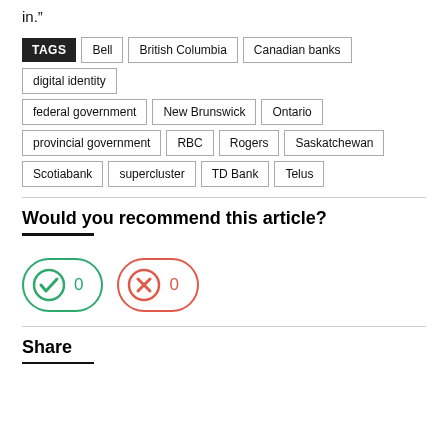in.”
TAGS: Bell, British Columbia, Canadian banks, digital identity, federal government, New Brunswick, Ontario, provincial government, RBC, Rogers, Saskatchewan, Scotiabank, supercluster, TD Bank, Telus
Would you recommend this article?
[Figure (infographic): Two vote buttons: a green checkmark button showing 0 yes votes, and a red X button showing 0 no votes.]
Share